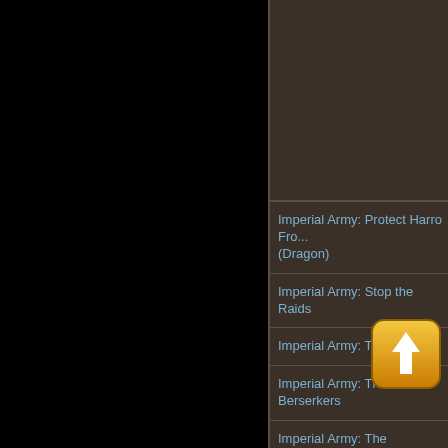Imperial Army: Protect Harro Fro... (Dragon)
Imperial Army: Stop the Raids
Imperial Army: The Assault
Imperial Army: The Berserkers
Imperial Army: The Counterattac...
Imperial Army: The Defenses
Imperial Army: The Messengers
Imperial Army: The Package
Imperial Army: The Prisoner
Imperial Army: The...
Imperial Army: The...ed
[Figure (illustration): Orange upload/arrow icon button]